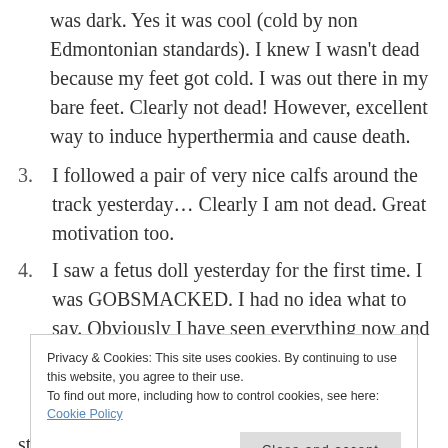was dark. Yes it was cool (cold by non Edmontonian standards). I knew I wasn't dead because my feet got cold. I was out there in my bare feet. Clearly not dead! However, excellent way to induce hyperthermia and cause death.
3. I followed a pair of very nice calfs around the track yesterday… Clearly I am not dead. Great motivation too.
4. I saw a fetus doll yesterday for the first time. I was GOBSMACKED. I had no idea what to say. Obviously I have seen everything now and can die, therefore I am not dead yet.
Privacy & Cookies: This site uses cookies. By continuing to use this website, you agree to their use.
To find out more, including how to control cookies, see here: Cookie Policy
stuff and a white elephant. Very disappointing yet